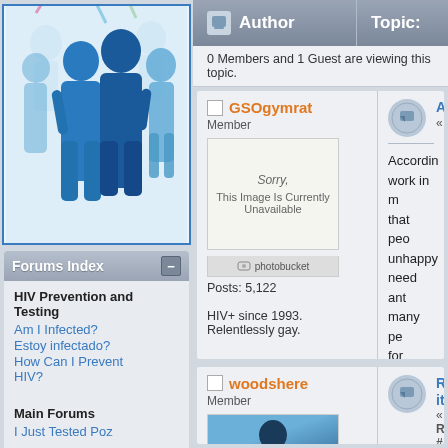[Figure (illustration): Silhouettes of a group of people in blue tones against a light background, representing a community forum banner image.]
Forums Index
HIV Prevention and Testing
Am I Infected?
Estoy infectado?
How Can I Prevent HIV?
Main Forums
I Just Tested Poz
Author   Topic:
0 Members and 1 Guest are viewing this topic.
GSOgymrat
Member
Posts: 5,122
HIV+ since 1993. Relentlessly gay.
According to work in m... that peo... unhappy... need ant... many pe... for happi... who pres... clinically...
One thin...
woodshere
Member
Re... it!
« Reply #...